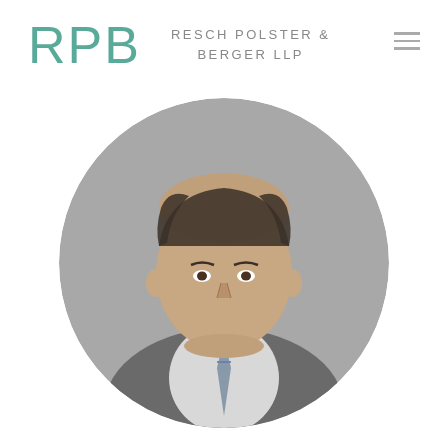RPB  RESCH POLSTER & BERGER LLP
[Figure (photo): Circular headshot portrait of a middle-aged man in a grey suit with a tie, against a grey background, on the law firm's attorney profile page.]